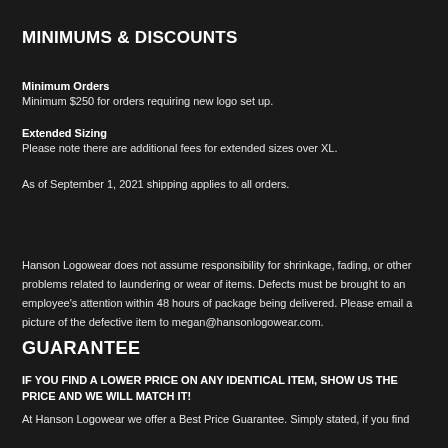MINIMUMS & DISCOUNTS
Minimum Orders
Minimum $250 for orders requiring new logo set up.
Extended Sizing
Please note there are additional fees for extended sizes over XL.
As of September 1, 2021 shipping applies to all orders.
Hanson Logowear does not assume responsibility for shrinkage, fading, or other problems related to laundering or wear of items. Defects must be brought to an employee's attention within 48 hours of package being delivered. Please email a picture of the defective item to megan@hansonlogowear.com.
GUARANTEE
IF YOU FIND A LOWER PRICE ON ANY IDENTICAL ITEM, SHOW US THE PRICE AND WE WILL MATCH IT!
At Hanson Logowear we offer a Best Price Guarantee. Simply stated, if you find